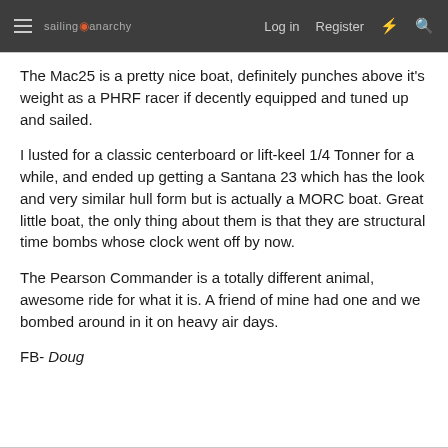sailing anarchy  Log in  Register
The Mac25 is a pretty nice boat, definitely punches above it's weight as a PHRF racer if decently equipped and tuned up and sailed.
I lusted for a classic centerboard or lift-keel 1/4 Tonner for a while, and ended up getting a Santana 23 which has the look and very similar hull form but is actually a MORC boat. Great little boat, the only thing about them is that they are structural time bombs whose clock went off by now.
The Pearson Commander is a totally different animal, awesome ride for what it is. A friend of mine had one and we bombed around in it on heavy air days.
FB- Doug